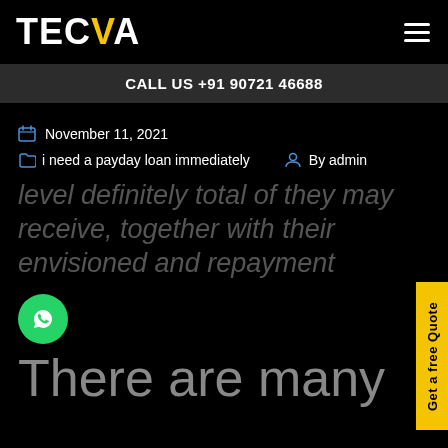TECVA
CALL US +91 90721 46688
November 11, 2021
i need a payday loan immediately   By admin
level definitely total of they may receive, together with their envisioned and repayment
There are many